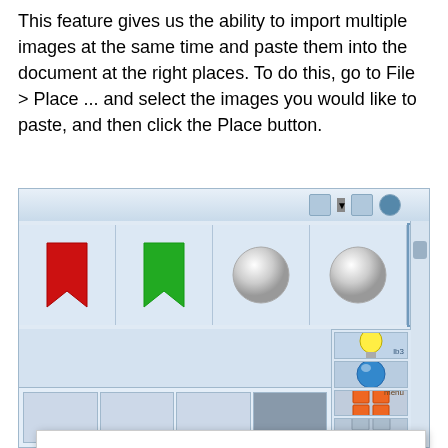This feature gives us the ability to import multiple images at the same time and paste them into the document at the right places. To do this, go to File > Place ... and select the images you would like to paste, and then click the Place button.
[Figure (screenshot): Screenshot of an image browser/library application showing icon thumbnails including red and green bookmarks, circular icons, and a light bulb. A cookie consent dialog overlays the screenshot with text: 'We use cookies to ensure that we give you the best experience on our website. Privacy Statement.' with 'I disagree' and 'I agree' buttons.]